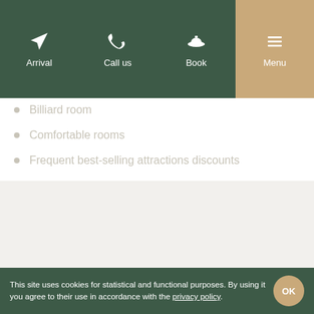Arrival | Call us | Book | Menu
Billiard room
Comfortable rooms
Frequent best-selling attractions discounts
This site uses cookies for statistical and functional purposes. By using it you agree to their use in accordance with the privacy policy.